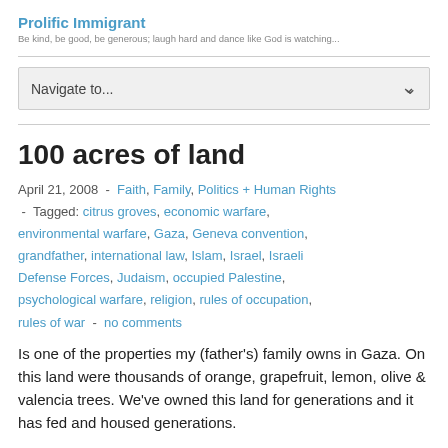Prolific Immigrant
Be kind, be good, be generous; laugh hard and dance like God is watching...
Navigate to...
100 acres of land
April 21, 2008  -  Faith, Family, Politics + Human Rights  -  Tagged: citrus groves, economic warfare, environmental warfare, Gaza, Geneva convention, grandfather, international law, Islam, Israel, Israeli Defense Forces, Judaism, occupied Palestine, psychological warfare, religion, rules of occupation, rules of war  -  no comments
Is one of the properties my (father's) family owns in Gaza. On this land were thousands of orange, grapefruit, lemon, olive & valencia trees. We've owned this land for generations and it has fed and housed generations.